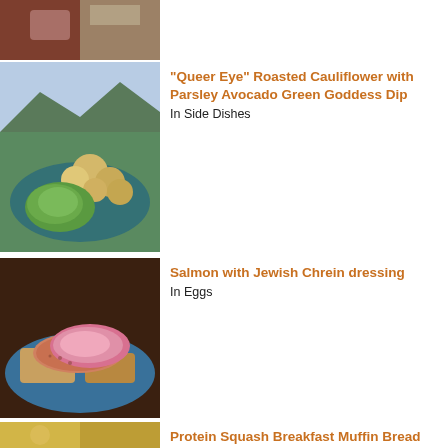[Figure (photo): Partial photo of meat/food item at top of page, cropped]
[Figure (photo): Roasted cauliflower with green avocado dip on a blue plate]
“Queer Eye” Roasted Cauliflower with Parsley Avocado Green Goddess Dip
In Side Dishes
[Figure (photo): Salmon fillet with pink Jewish Chrein dressing on a blue plate]
Salmon with Jewish Chrein dressing
In Eggs
[Figure (photo): Partial photo at bottom of page - Protein Squash Breakfast Muffin Bread Egg]
Protein Squash Breakfast Muffin Bread Egg